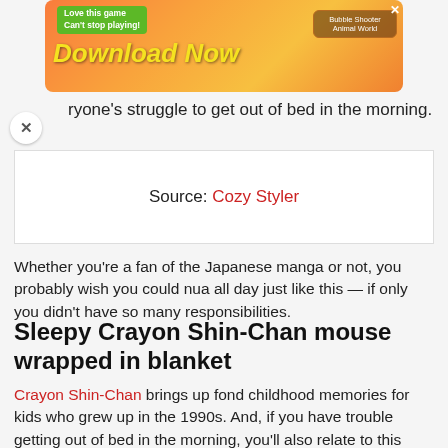[Figure (other): Mobile advertisement banner for 'Bubble Shooter Animal World' game with orange/yellow gradient background, green speech bubble saying 'Love this game Can't stop playing!', yellow italic text 'Download Now', and game icon on the right.]
ryone's struggle to get out of bed in the morning.
Source: Cozy Styler
Whether you're a fan of the Japanese manga or not, you probably wish you could nua all day just like this — if only you didn't have so many responsibilities.
Sleepy Crayon Shin-Chan mouse wrapped in blanket
Crayon Shin-Chan brings up fond childhood memories for kids who grew up in the 1990s. And, if you have trouble getting out of bed in the morning, you'll also relate to this merchandise.